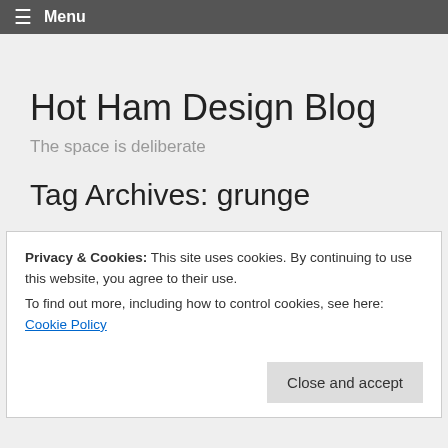≡ Menu
Hot Ham Design Blog
The space is deliberate
Tag Archives: grunge
Privacy & Cookies: This site uses cookies. By continuing to use this website, you agree to their use.
To find out more, including how to control cookies, see here: Cookie Policy
Close and accept